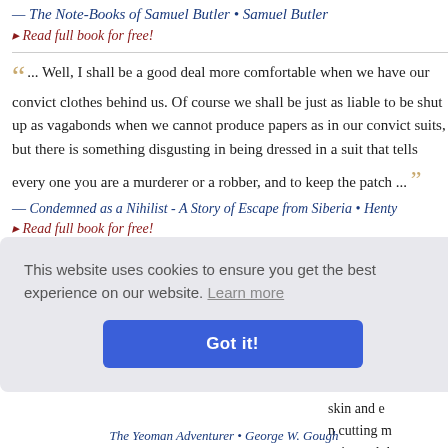— The Note-Books of Samuel Butler • Samuel Butler
▸ Read full book for free!
"... Well, I shall be a good deal more comfortable when we have our convict clothes behind us. Of course we shall be just as liable to be shut up as vagabonds when we cannot produce papers as in our convict suits, but there is something disgusting in being dressed in a suit that tells every one you are a murderer or a robber, and to keep the patch ..."
— Condemned as a Nihilist - A Story of Escape from Siberia • Henty
▸ Read full book for free!
This website uses cookies to ensure you get the best experience on our website. Learn more
Got it!
The Yeoman Adventurer • George W. Gough